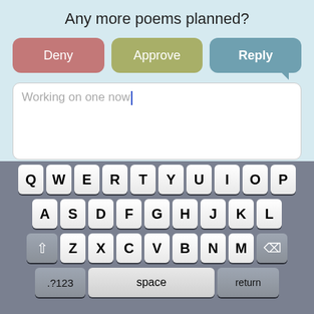Any more poems planned?
[Figure (screenshot): Three action buttons: Deny (pink/rose), Approve (olive green), Reply (steel blue with speech bubble tail)]
[Figure (screenshot): Text input box with text 'Working on one now' and a blue cursor]
[Figure (screenshot): iOS-style QWERTY keyboard with rows QWERTYUIOP, ASDFGHJKL, shift+ZXCVBNM+backspace, and .?123 space return bottom row]